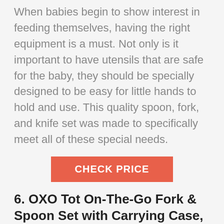When babies begin to show interest in feeding themselves, having the right equipment is a must. Not only is it important to have utensils that are safe for the baby, they should be specially designed to be easy for little hands to hold and use. This quality spoon, fork, and knife set was made to specifically meet all of these special needs.
[Figure (other): CHECK PRICE button — orange/red rectangle with white uppercase text]
6. OXO Tot On-The-Go Fork & Spoon Set with Carrying Case, Pink
[Figure (photo): Photo of a silver fork and spoon utensil set (OXO Tot On-The-Go Fork & Spoon Set), shown side by side on a light background]